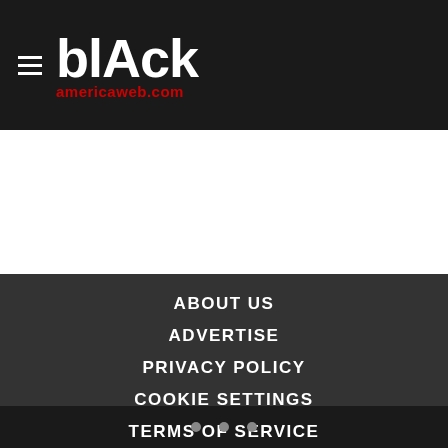blAck americaweb.com
[Figure (other): White blank content area]
ABOUT US
ADVERTISE
PRIVACY POLICY
COOKIE SETTINGS
TERMS OF SERVICE
NEWSLETTER
• • •